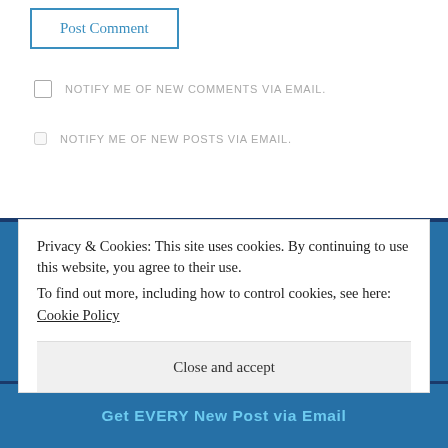Post Comment
NOTIFY ME OF NEW COMMENTS VIA EMAIL.
NOTIFY ME OF NEW POSTS VIA EMAIL.
Social
[Figure (illustration): Social media icons: Facebook, Twitter, Instagram, YouTube]
Privacy & Cookies: This site uses cookies. By continuing to use this website, you agree to their use.
To find out more, including how to control cookies, see here: Cookie Policy
Close and accept
Get EVERY New Post via Email